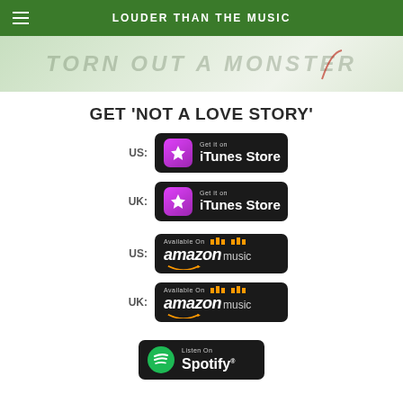LOUDER THAN THE MUSIC
[Figure (photo): Top banner image with stylized text background, green/light tones]
GET 'NOT A LOVE STORY'
[Figure (logo): US: iTunes Store badge (black rounded rectangle, pink star icon, 'Get it on iTunes Store')]
[Figure (logo): UK: iTunes Store badge (black rounded rectangle, pink star icon, 'Get it on iTunes Store')]
[Figure (logo): US: Amazon Music badge (black rounded rectangle, amazon music logo)]
[Figure (logo): UK: Amazon Music badge (black rounded rectangle, amazon music logo)]
[Figure (logo): Spotify badge (black rounded rectangle, green Spotify logo, 'Listen On Spotify')]